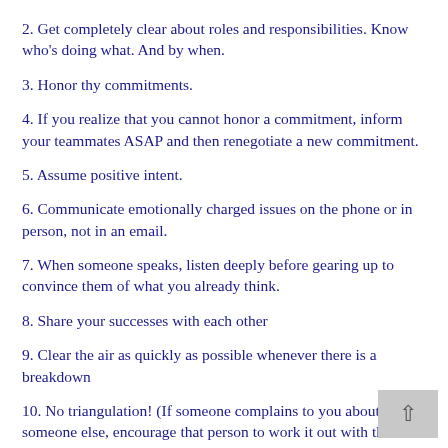2. Get completely clear about roles and responsibilities. Know who's doing what. And by when.
3. Honor thy commitments.
4. If you realize that you cannot honor a commitment, inform your teammates ASAP and then renegotiate a new commitment.
5. Assume positive intent.
6. Communicate emotionally charged issues on the phone or in person, not in an email.
7. When someone speaks, listen deeply before gearing up to convince them of what you already think.
8. Share your successes with each other
9. Clear the air as quickly as possible whenever there is a breakdown
10. No triangulation! (If someone complains to you about someone else, encourage that person to work it out with the person they are complaining about.)
11. Give and receive feedback.